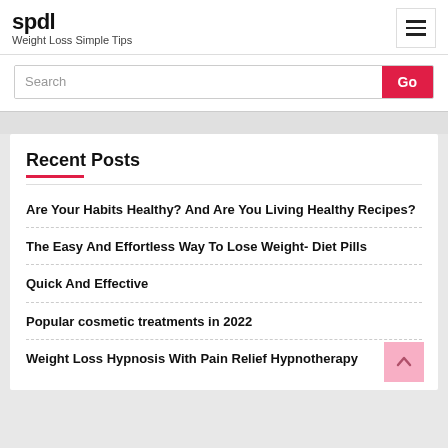spdl
Weight Loss Simple Tips
Search
Recent Posts
Are Your Habits Healthy? And Are You Living Healthy Recipes?
The Easy And Effortless Way To Lose Weight- Diet Pills
Quick And Effective
Popular cosmetic treatments in 2022
Weight Loss Hypnosis With Pain Relief Hypnotherapy